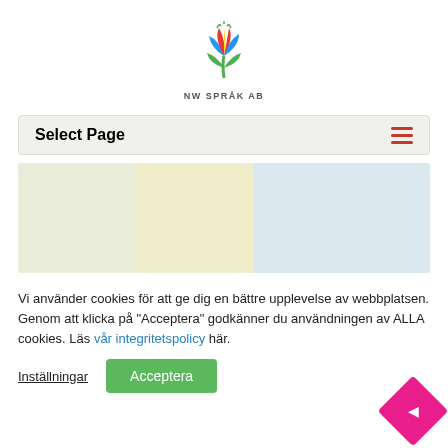[Figure (logo): NW Språk AB tulip logo with colorful petals and NW SPRÅK AB text below]
Select Page
[Figure (screenshot): Navigation bar with 'Select Page' label and hamburger menu icon on colored background panels]
Vi använder cookies för att ge dig en bättre upplevelse av webbplatsen. Genom att klicka på "Acceptera" godkänner du användningen av ALLA cookies. Läs vår integritetspolicy här.
Inställningar
Acceptera